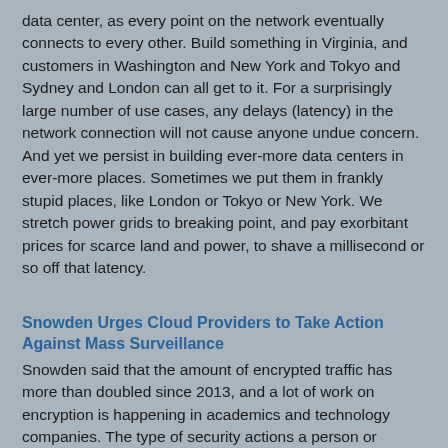data center, as every point on the network eventually connects to every other. Build something in Virginia, and customers in Washington and New York and Tokyo and Sydney and London can all get to it. For a surprisingly large number of use cases, any delays (latency) in the network connection will not cause anyone undue concern. And yet we persist in building ever-more data centers in ever-more places. Sometimes we put them in frankly stupid places, like London or Tokyo or New York. We stretch power grids to breaking point, and pay exorbitant prices for scarce land and power, to shave a millisecond or so off that latency.
Snowden Urges Cloud Providers to Take Action Against Mass Surveillance
Snowden said that the amount of encrypted traffic has more than doubled since 2013, and a lot of work on encryption is happening in academics and technology companies. The type of security actions a person or organization might take “ultimately depends on what security specialists call a threat model,” Snowden said. “You need to think what the likely vectors are for attack.” When Harrison mentioned that more